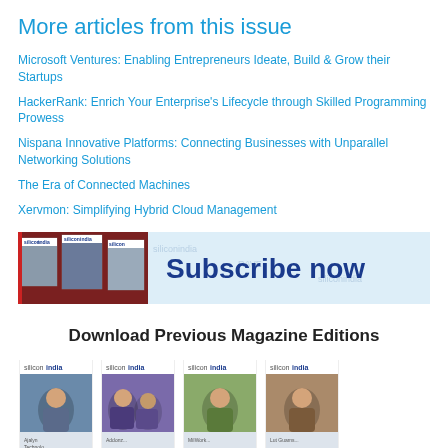More articles from this issue
Microsoft Ventures: Enabling Entrepreneurs Ideate, Build & Grow their Startups
HackerRank: Enrich Your Enterprise's Lifecycle through Skilled Programming Prowess
Nispana Innovative Platforms: Connecting Businesses with Unparallel Networking Solutions
The Era of Connected Machines
Xervmon: Simplifying Hybrid Cloud Management
[Figure (illustration): Subscribe now banner with siliconindia magazine covers on the left and bold Subscribe now text in blue on right]
Download Previous Magazine Editions
[Figure (illustration): Four siliconindia magazine covers shown in a row]